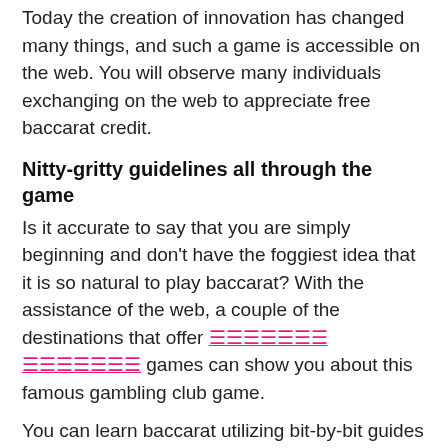Today the creation of innovation has changed many things, and such a game is accessible on the web. You will observe many individuals exchanging on the web to appreciate free baccarat credit.
Nitty-gritty guidelines all through the game
Is it accurate to say that you are simply beginning and don't have the foggiest idea that it is so natural to play baccarat? With the assistance of the web, a couple of the destinations that offer [pink link] games can show you about this famous gambling club game.
You can learn baccarat utilizing bit-by-bit guides and instructional exercises that empower you to get bit by bit utilizing various abilities. The baccarat guidelines are